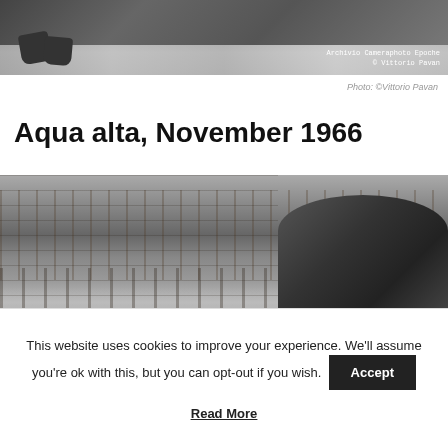[Figure (photo): Black and white photo showing legs/feet walking on a wet pavement, likely flood water, with text overlay 'Archivio Cameraphoto Epoche © Vittorio Pavan']
Photo: ©Vittorio Pavan
Aqua alta, November 1966
[Figure (photo): Black and white photo of Piazza San Marco in Venice showing the Procuratie Vecchie arcade and the Basilica di San Marco during the Aqua Alta flood of November 1966]
This website uses cookies to improve your experience. We'll assume you're ok with this, but you can opt-out if you wish.
Read More